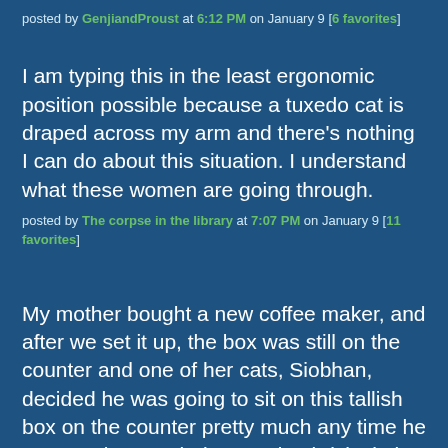posted by GenjiandProust at 6:12 PM on January 9 [6 favorites]
I am typing this in the least ergonomic position possible because a tuxedo cat is draped across my arm and there's nothing I can do about this situation. I understand what these women are going through.
posted by The corpse in the library at 7:07 PM on January 9 [11 favorites]
My mother bought a new coffee maker, and after we set it up, the box was still on the counter and one of her cats, Siobhan, decided he was going to sit on this tallish box on the counter pretty much any time he was awake. I ended up putting bricks in it for weight and duct-taping it closed, and it lived on the counter taking up space until Siobhan died.